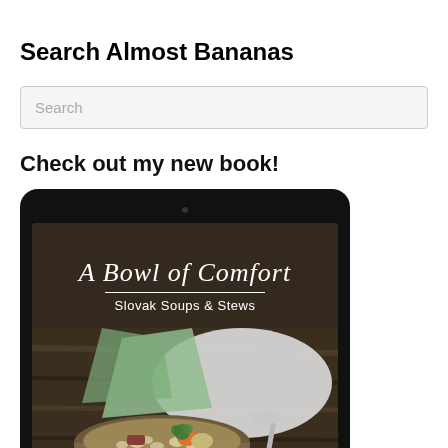Search Almost Bananas
Search
Check out my new book!
[Figure (photo): A tablet displaying the book cover of 'A Bowl of Comfort: Slovak Soups & Stews', showing a rustic bowl of bean soup with ham, carrots, and parsley, on a wooden table with a green cloth napkin and spoon.]